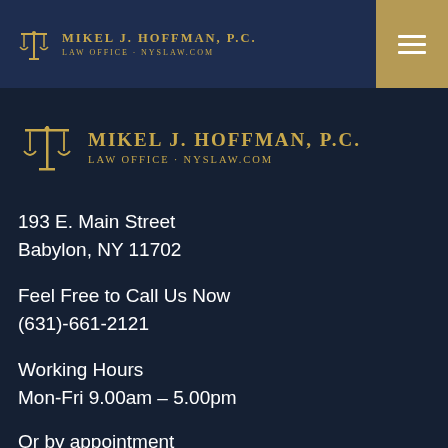Mikel J. Hoffman, P.C. Law Office · NYSLAW.COM
[Figure (logo): Mikel J. Hoffman P.C. Law Office logo with scales of justice icon, gold text on dark navy background]
193 E. Main Street
Babylon, NY 11702
Feel Free to Call Us Now
(631)-661-2121
Working Hours
Mon-Fri 9.00am - 5.00pm
Or by appointment